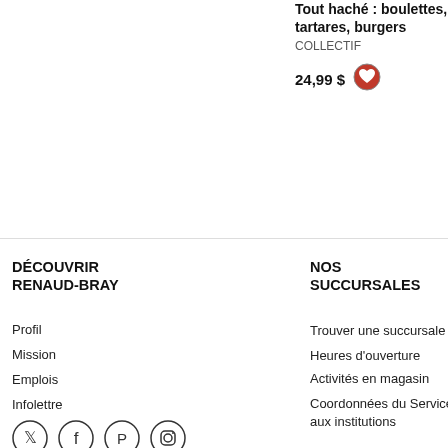Tout haché : boulettes, tartares, burgers
COLLECTIF
24,99 $
coeur, des rognons, de reste(Le)
REYNAUD, AL
29,95 $
DÉCOUVRIR RENAUD-BRAY
Profil
Mission
Emplois
Infolettre
Coups de cœur
Cartes-cadeaux
Commandites et partenariats
Service aux entreprises et aux institutions
NOS SUCCURSALES
Trouver une succursale
Heures d'ouverture
Activités en magasin
Coordonnées du Service aux institutions
A E
Be
Su
Me
Li
Co
Mo
V
[Figure (illustration): Social media icons: Twitter, Facebook, Pinterest, Instagram]